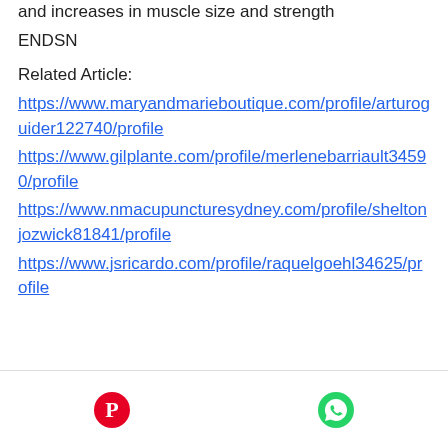and increases in muscle size and strength ENDSN
Related Article:
https://www.maryandmarieboutique.com/profile/arturoguider122740/profile
https://www.gilplante.com/profile/merlenebarriault34590/profile
https://www.nmacupuncturesydney.com/profile/sheltonjozwick81841/profile
https://www.jsricardo.com/profile/raquelgoehl34625/profile
[Figure (other): Footer bar with Pinterest and WhatsApp share icons]